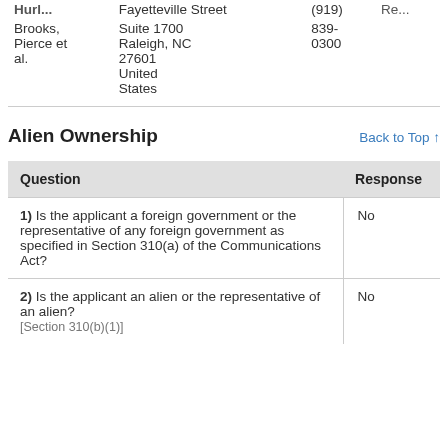| Name | Address | Phone | Re... |
| --- | --- | --- | --- |
| Hurl... | Fayetteville Street | (919) | Re... |
| Brooks, Pierce et al. | Suite 1700
Raleigh, NC 27601
United States | 839-0300 |  |
Alien Ownership
Back to Top ↑
| Question | Response |
| --- | --- |
| 1) Is the applicant a foreign government or the representative of any foreign government as specified in Section 310(a) of the Communications Act? | No |
| 2) Is the applicant an alien or the representative of an alien? [Section 310(b)(1)] | No |